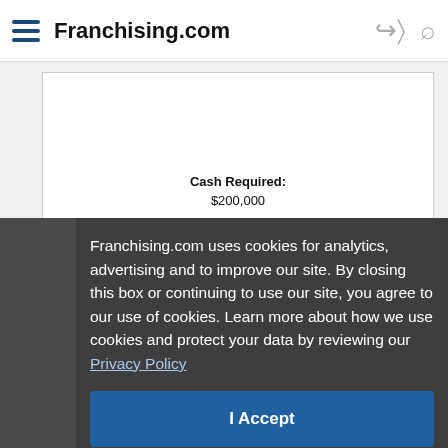Franchising.com
Cash Required: $200,000
Franchising.com uses cookies for analytics, advertising and to improve our site. By closing this box or continuing to use our site, you agree to our use of cookies. Learn more about how we use cookies and protect your data by reviewing our Privacy Policy
I Accept